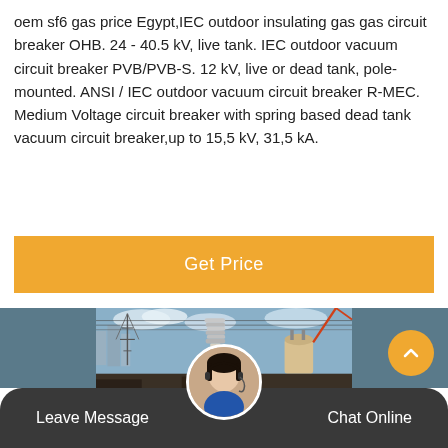oem sf6 gas price Egypt,IEC outdoor insulating gas gas circuit breaker OHB. 24 - 40.5 kV, live tank. IEC outdoor vacuum circuit breaker PVB/PVB-S. 12 kV, live or dead tank, pole-mounted. ANSI / IEC outdoor vacuum circuit breaker R-MEC. Medium Voltage circuit breaker with spring based dead tank vacuum circuit breaker,up to 15,5 kV, 31,5 kA.
Get Price
[Figure (photo): Outdoor electrical substation with large circuit breakers and insulators, industrial equipment visible against a cloudy sky with buildings in the background.]
Leave Message   Chat Online